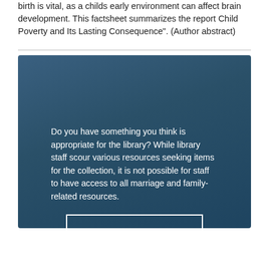birth is vital, as a childs early environment can affect brain development. This factsheet summarizes the report Child Poverty and Its Lasting Consequence". (Author abstract)
Do you have something you think is appropriate for the library? While library staff scour various resources seeking items for the collection, it is not possible for staff to have access to all marriage and family-related resources.
HOW TO SUBMIT LIBRARY RESOURCE